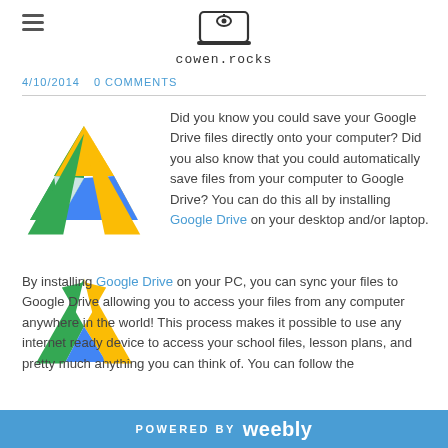cowen.rocks
4/10/2014   0 COMMENTS
[Figure (logo): Google Drive triangle logo in green, yellow, and blue]
Did you know you could save your Google Drive files directly onto your computer? Did you also know that you could automatically save files from your computer to Google Drive? You can do this all by installing Google Drive on your desktop and/or laptop.
By installing Google Drive on your PC, you can sync your files to Google Drive allowing you to access your files from any computer anywhere in the world! This process makes it possible to use any internet ready device to access your school files, lesson plans, and pretty much anything you can think of. You can follow the
POWERED BY weebly